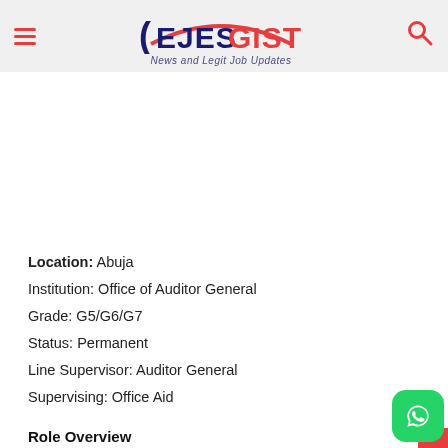EJESGIST — News and Legit Job Updates
Location: Abuja
Institution: Office of Auditor General
Grade: G5/G6/G7
Status: Permanent
Line Supervisor: Auditor General
Supervising: Office Aid
Role Overview